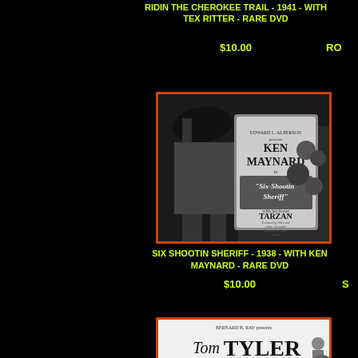RIDIN THE CHEROKEE TRAIL - 1941 - WITH TEX RITTER - RARE DVD
$10.00
RO
[Figure (photo): Black and white movie poster for Ken Maynard in 'Six-Shootin Sheriff' featuring Tarzan, with orange border]
SIX SHOOTIN SHERIFF - 1938 - WITH KEN MAYNARD - RARE DVD
$10.00
S
[Figure (photo): Black and white movie poster for Tom Tyler in 'Terror' presented by Bernard B. Ray, with orange border]